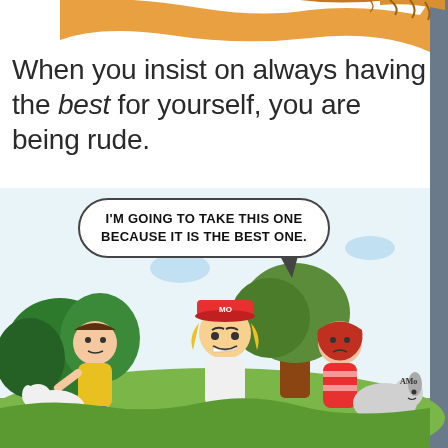[Figure (illustration): Top portion of a colorful children's book illustration, showing the top of a cartoon character or animal with orange/brown coloring against a white background.]
When you insist on always having the best for yourself, you are being rude.
[Figure (illustration): A children's cartoon illustration showing several kids outdoors. A blonde boy wearing a cap labeled 'MO' is speaking with a mean expression, grabbing something. Other children look upset or concerned. There are cartoon animals (dogs/horses) in the scene. A speech bubble reads: I'M GOING TO TAKE THIS ONE BECAUSE IT IS THE BEST ONE.]